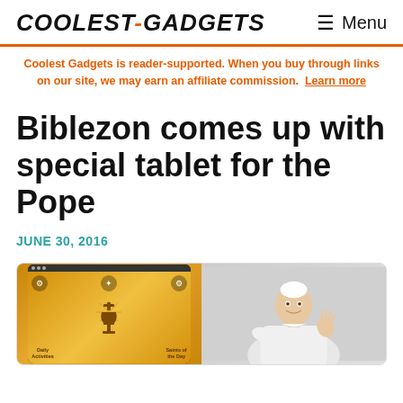COOLEST-GADGETS  ☰ Menu
Coolest Gadgets is reader-supported. When you buy through links on our site, we may earn an affiliate commission. Learn more
Biblezon comes up with special tablet for the Pope
JUNE 30, 2016
[Figure (photo): Left half: a tablet device showing the Biblezon app with a chalice icon, Daily Activities and Saints of the Day labels on a golden/brown background. Right half: Pope Francis in white robes waving, photographed outdoors.]